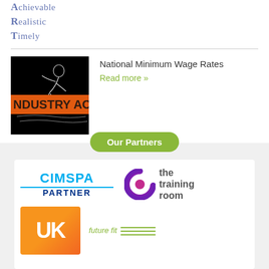Achievable
Realistic
Timely
[Figure (photo): Industry Accountant image - black background with runner silhouette and orange banner reading NDUSTRY ACCO]
National Minimum Wage Rates
Read more »
[Figure (logo): Our Partners section with CIMSPA Partner logo, The Training Room logo, UK logo (orange/red gradient), and future fit logo]
Our Partners